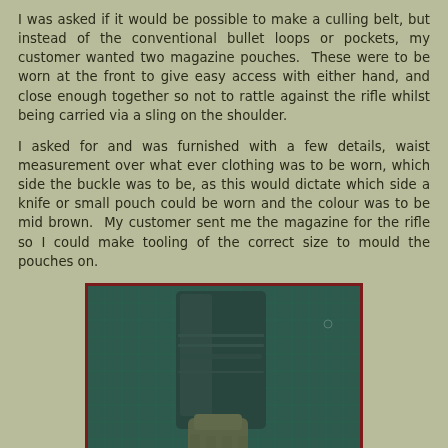I was asked if it would be possible to make a culling belt, but instead of the conventional bullet loops or pockets, my customer wanted two magazine pouches.  These were to be worn at the front to give easy access with either hand, and close enough together so not to rattle against the rifle whilst being carried via a sling on the shoulder.
I asked for and was furnished with a few details, waist measurement over what ever clothing was to be worn, which side the buckle was to be, as this would dictate which side a knife or small pouch could be worn and the colour was to be mid brown.  My customer sent me the magazine for the rifle so I could make tooling of the correct size to mould the pouches on.
[Figure (photo): A photograph of a dark (black/dark grey) rifle magazine placed on a green cutting mat, held from below by a hand. The magazine is rectangular with slight curves, and the cutting mat grid lines are visible in the background.]